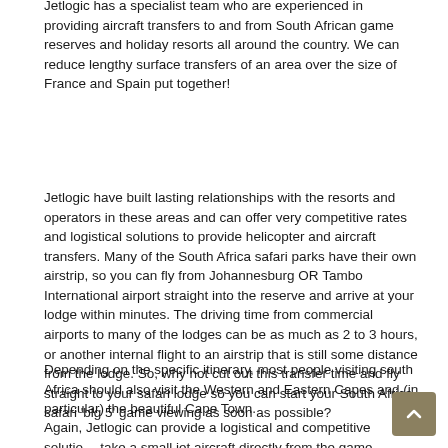Jetlogic has a specialist team who are experienced in providing aircraft transfers to and from South African game reserves and holiday resorts all around the country. We can reduce lengthy surface transfers of an area over the size of France and Spain put together!
Jetlogic have built lasting relationships with the resorts and operators in these areas and can offer very competitive rates and logistical solutions to provide helicopter and aircraft transfers. Many of the South Africa safari parks have their own airstrip, so you can fly from Johannesburg OR Tambo International airport straight into the reserve and arrive at your lodge within minutes. The driving time from commercial airports to many of the lodges can be as much as 2 to 3 hours, or another internal flight to an airstrip that is still some distance from the lodge. So, why not cut out this transfer time and fly straight to your safari lodge so you can start your South Africa safari 'big 5' game viewing as soon as possible?
Depending on the specific itinerary, most people visiting south Africa should also visit the Western and Eastern Capes and (in particular) the beautiful Cape Town.
Again, Jetlogic can provide a logistical and competitive solution take a small jet aircraft directly from the game reserve to Cape Town avoiding very long drives to commercial airports. Explore